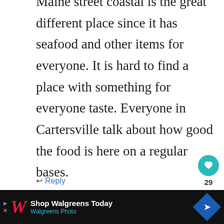Maine street coastal is the great different place since it has seafood and other items for everyone. It is hard to find a place with something for everyone taste. Everyone in Cartersville talk about how good the food is here on a regular bases.
↩ Reply
Connie Pearson
August 27, 2020 at 01:30 PM
[Figure (screenshot): WHAT'S NEXT arrow label with thumbnail showing 18 Best Restaurants...]
[Figure (screenshot): Walgreens advertisement bar: Shop Walgreens Today / Walgreens Photo with Walgreens logo and blue direction arrow icon]